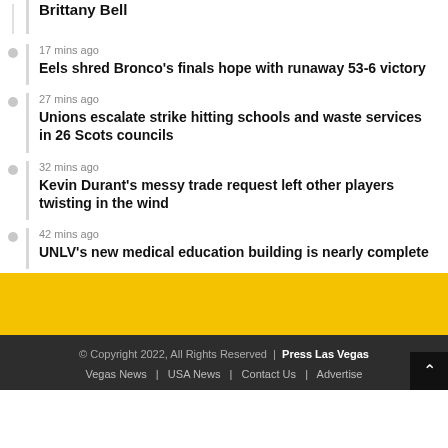Brittany Bell
17 mins ago — Eels shred Bronco's finals hope with runaway 53-6 victory
27 mins ago — Unions escalate strike hitting schools and waste services in 26 Scots councils
32 mins ago — Kevin Durant's messy trade request left other players twisting in the wind
42 mins ago — UNLV's new medical education building is nearly complete
© Copyright 2022, All Rights Reserved | Press Las Vegas | Vegas News | USA News | Contact Us | Advertise